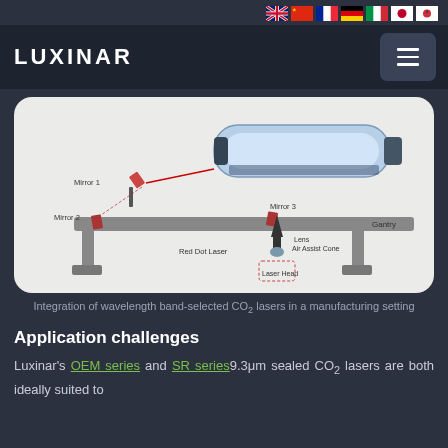LUXINAR — navigation with language flags and hamburger menu
[Figure (engineering-diagram): Diagram of a CO2 laser gantry system showing Mirror 1, Mirror 2, Mirror 3, Red Dot Laser, Lens, Air Assist Cone, Laser Head, and Gantry components with beam path indicated by red line.]
Integration of wavelength band-selected CO2 lasers in a manufacturing setting
Application challenges
Luxinar's OEM series and SR series 9.3μm sealed CO2 lasers are both ideally suited to